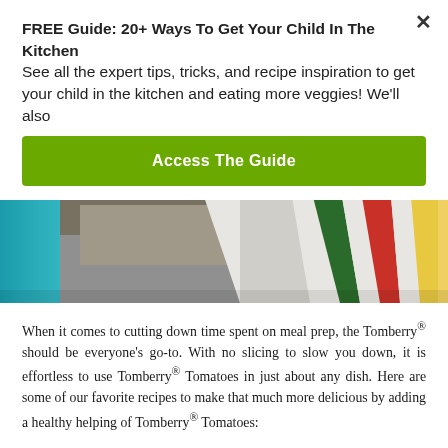FREE Guide: 20+ Ways To Get Your Child In The Kitchen See all the expert tips, tricks, and recipe inspiration to get your child in the kitchen and eating more veggies! We'll also
Access The Guide
[Figure (photo): Close-up photo of a folded textile/cloth with colorful stripes (green, red, yellow) on a concrete surface, with teal fabric visible on the left]
When it comes to cutting down time spent on meal prep, the Tomberry® should be everyone’s go-to. With no slicing to slow you down, it is effortless to use Tomberry® Tomatoes in just about any dish. Here are some of our favorite recipes to make that much more delicious by adding a healthy helping of Tomberry® Tomatoes:
Add them raw to a salad – Spiralized Mini Cucumber Salad
Heat them up in a soup – Tortilla Soup